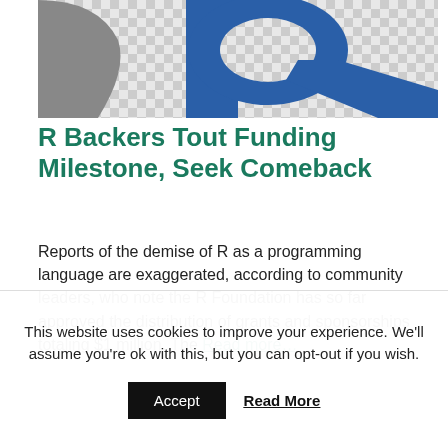[Figure (logo): Partial R logo — grey checkered background with blue and grey letter R visible at top]
R Backers Tout Funding Milestone, Seek Comeback
Reports of the demise of R as a programming language are exaggerated, according to community leaders, who note the R Foundation has so far approved the distribution of grants and sponsorships totaling $1 million. The Read more…
[Figure (illustration): Partial view of torus/donut shaped wire-mesh 3D objects in black and white]
This website uses cookies to improve your experience. We'll assume you're ok with this, but you can opt-out if you wish.
Accept  Read More